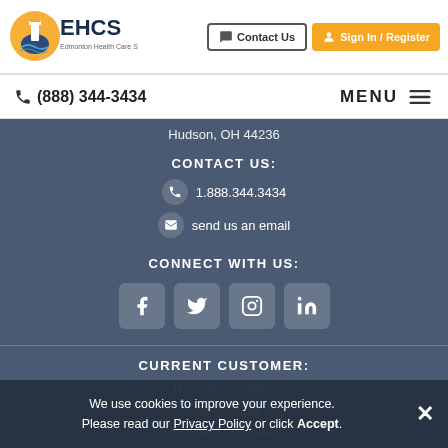EHCS logo | Contact Us | Sign In / Register
(888) 344-3434 | MENU
Hudson, OH 44236
CONTACT US:
1.888.344.3434
send us an email
CONNECT WITH US:
[Figure (infographic): Social media icons: Facebook, Twitter, Instagram, LinkedIn]
CURRENT CUSTOMER:
Reorder Supplies
Pay Your Bill
Insurance Updates
Sign into My Account
We use cookies to improve your experience. Please read our Privacy Policy or click Accept.